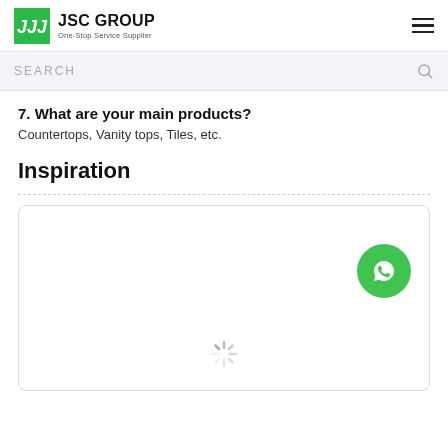JSC GROUP One-Stop Service Supplier
SEARCH
7. What are your main products?
Countertops, Vanity tops, Tiles, etc.
Inspiration
[Figure (other): Inspiration card area with a loading spinner and WhatsApp contact button]